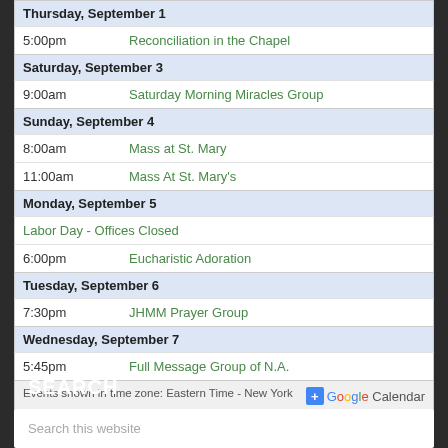| Thursday, September 1 |  |  |
| 5:00pm | Reconciliation in the Chapel |
| Saturday, September 3 |  |  |
| 9:00am | Saturday Morning Miracles Group |
| Sunday, September 4 |  |  |
| 8:00am | Mass at St. Mary |
| 11:00am | Mass At St. Mary's |
| Monday, September 5 |  |  |
| Labor Day - Offices Closed |
| 6:00pm | Eucharistic Adoration |
| Tuesday, September 6 |  |  |
| 7:30pm | JHMM Prayer Group |
| Wednesday, September 7 |  |  |
| 5:45pm | Full Message Group of N.A. |
| Events shown in time zone: Eastern Time - New York | + Google Calendar |
SEARCH
Search this website